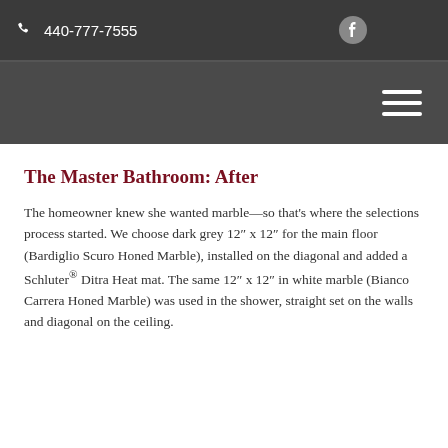440-777-7555
The Master Bathroom: After
The homeowner knew she wanted marble—so that's where the selections process started. We choose dark grey 12″ x 12″ for the main floor (Bardiglio Scuro Honed Marble), installed on the diagonal and added a Schluter® Ditra Heat mat. The same 12″ x 12″ in white marble (Bianco Carrera Honed Marble) was used in the shower, straight set on the walls and diagonal on the ceiling.